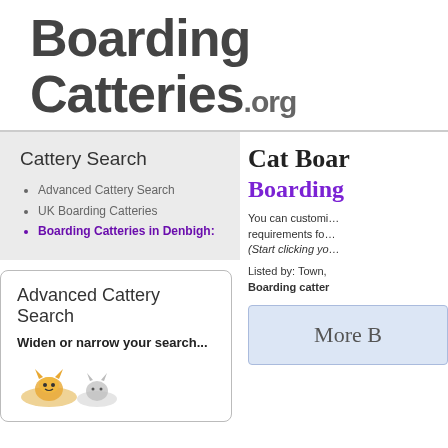BoardingCatteries.org
Cattery Search
Advanced Cattery Search
UK Boarding Catteries
Boarding Catteries in Denbigh:
Advanced Cattery Search
Widen or narrow your search...
Cat Boar
Boarding
You can customi… requirements fo… (Start clicking yo…
Listed by: Town, Boarding catter
More B